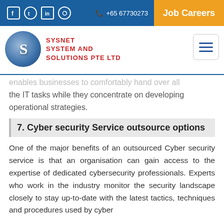Social icons: Facebook, Twitter, LinkedIn, Instagram | +65 67730273 | Job Careers
[Figure (logo): Sysnet System and Solutions Pte Ltd logo with blue circular S icon and red text]
enables businesses to comfortably hand over all the IT tasks while they concentrate on developing operational strategies.
7. Cyber security Service outsource options
One of the major benefits of an outsourced Cyber security service is that an organisation can gain access to the expertise of dedicated cybersecurity professionals. Experts who work in the industry monitor the security landscape closely to stay up-to-date with the latest tactics, techniques and procedures used by cyber